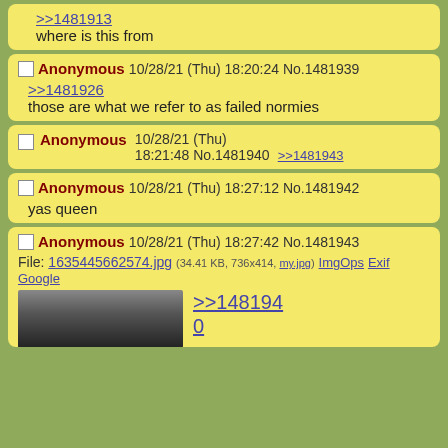>>1481913
where is this from
Anonymous 10/28/21 (Thu) 18:20:24 No.1481939
>>1481926
those are what we refer to as failed normies
Anonymous 10/28/21 (Thu) 18:21:48 No.1481940 >>1481943
Anonymous 10/28/21 (Thu) 18:27:12 No.1481942
yas queen
Anonymous 10/28/21 (Thu) 18:27:42 No.1481943
File: 1635445662574.jpg (34.41 KB, 736x414, my.jpg) ImgOps Exif Google
>>1481940